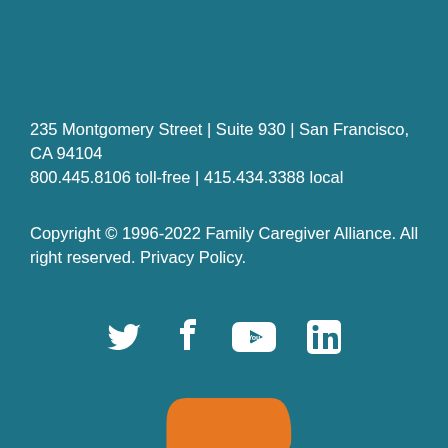235 Montgomery Street | Suite 930 | San Francisco, CA 94104
800.445.8106 toll-free | 415.434.3388 local
Copyright © 1996-2022 Family Caregiver Alliance. All right reserved. Privacy Policy.
[Figure (logo): Social media icons: Twitter, Facebook, YouTube, LinkedIn in white]
[Figure (logo): Orange rounded rectangle logo shape for Family Caregiver Alliance]